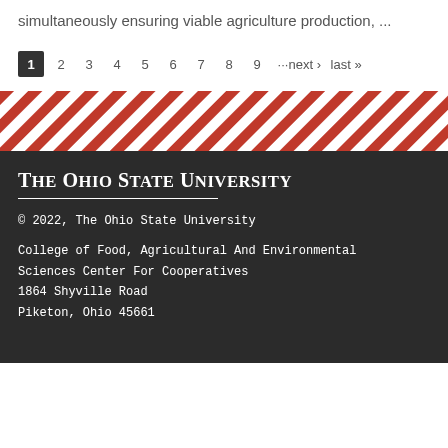simultaneously ensuring viable agriculture production, ...
1 2 3 4 5 6 7 8 9 ···next › last »
[Figure (illustration): Diagonal red and white striped decorative band]
The Ohio State University
© 2022, The Ohio State University
College of Food, Agricultural And Environmental Sciences Center For Cooperatives
1864 Shyville Road
Piketon, Ohio 45661